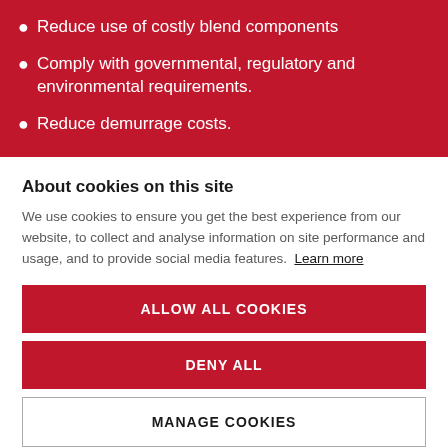Reduce use of costly blend components
Comply with governmental, regulatory and environmental requirements.
Reduce demurrage costs.
About cookies on this site
We use cookies to ensure you get the best experience from our website, to collect and analyse information on site performance and usage, and to provide social media features. Learn more
ALLOW ALL COOKIES
DENY ALL
MANAGE COOKIES